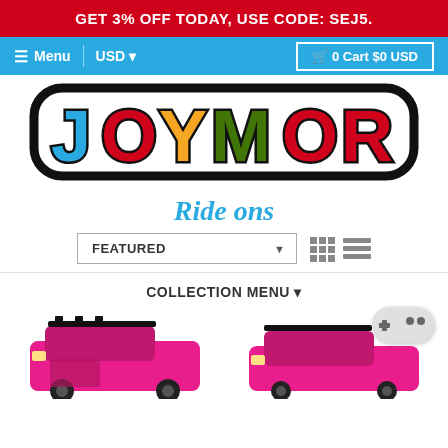GET 3% OFF TODAY, USE CODE: SEJ5.
≡ Menu  USD ▼  🛒 0 Cart $0 USD
[Figure (logo): JOYMOR colorful toy brand logo with bold letters in blue, red, yellow, green on white background with black outline]
Ride ons
FEATURED ▼  [grid icon] [list icon]
COLLECTION MENU ▼
[Figure (photo): Two pink ride-on toy jeep cars for children, partially visible at bottom of page. A game controller icon appears top right.]